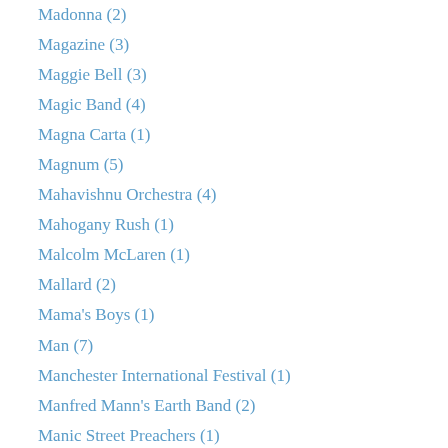Madonna (2)
Magazine (3)
Maggie Bell (3)
Magic Band (4)
Magna Carta (1)
Magnum (5)
Mahavishnu Orchestra (4)
Mahogany Rush (1)
Malcolm McLaren (1)
Mallard (2)
Mama's Boys (1)
Man (7)
Manchester International Festival (1)
Manfred Mann's Earth Band (2)
Manic Street Preachers (1)
Marc Almond (1)
Marcus Malone (1)
Mari Wilson & the Wilsations (1)
Mariah Carey (1)
Marianne Faithfull (2)